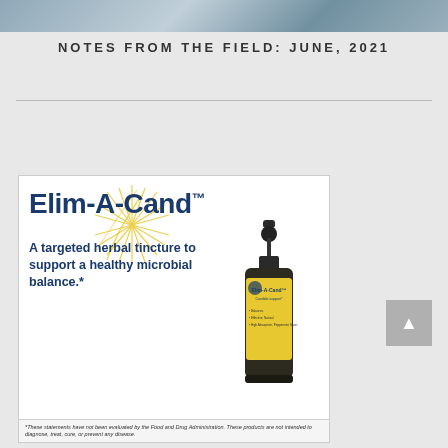[Figure (photo): Cropped photo strip at top of page, showing partial faces/portrait]
NOTES FROM THE FIELD: JUNE, 2021
[Figure (infographic): Elim-A-Cand product advertisement. Features the text 'Elim-A-Cand™' as large heading, tagline 'A targeted herbal tincture to support a healthy microbial balance.*', a product bottle image (dark brown dropper bottle with yellow label reading 'Elim-A-Cand™ Candida support*'), and a sunburst decorative element. Disclaimer text at bottom: '*These statements have not been evaluated by the Food and Drug Administration. These products are not intended to diagnose, treat, cure, or prevent any disease.']
*These statements have not been evaluated by the Food and Drug Administration. These products are not intended to diagnose, treat, cure, or prevent any disease.